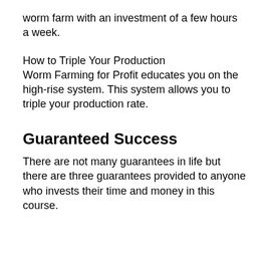worm farm with an investment of a few hours a week.
How to Triple Your Production
Worm Farming for Profit educates you on the high-rise system. This system allows you to triple your production rate.
Guaranteed Success
There are not many guarantees in life but there are three guarantees provided to anyone who invests their time and money in this course.